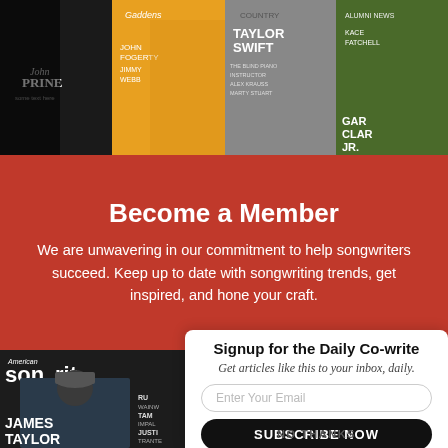[Figure (photo): Magazine covers strip showing multiple music/country magazine covers including John Prine, Gaddens (yellow cover), Country with Taylor Swift, and another country music magazine with a guitarist]
Become a Member
We are unwavering in our commitment to help songwriters succeed. Keep up to date with songwriting trends, get inspired, and hone your craft.
[Figure (photo): American Songwriter magazine cover featuring James Taylor seated, wearing a cap and dark jacket, with text listing RU WAINW, TAM IMPA, JUSTI TRANTE, NATHAN RATEL]
×
Signup for the Daily Co-write
Get articles like this to your inbox, daily.
Enter Your Email
SUBSCRIBE NOW
NO THANKS